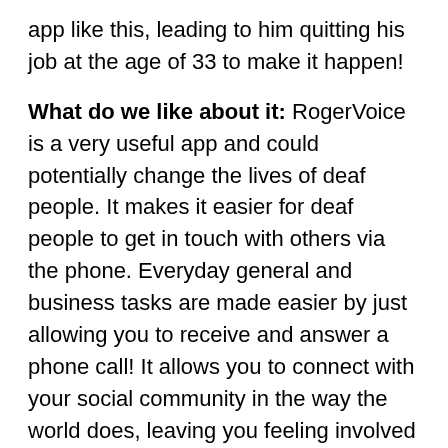app like this, leading to him quitting his job at the age of 33 to make it happen!
What do we like about it: RogerVoice is a very useful app and could potentially change the lives of deaf people. It makes it easier for deaf people to get in touch with others via the phone. Everyday general and business tasks are made easier by just allowing you to receive and answer a phone call! It allows you to connect with your social community in the way the world does, leaving you feeling involved and not isolated. The RogerVoice team is working on new features for the app, things such as translation, text to voice and a few other elements to develop the app even further.
How much: RogerVoice hasn't been launched